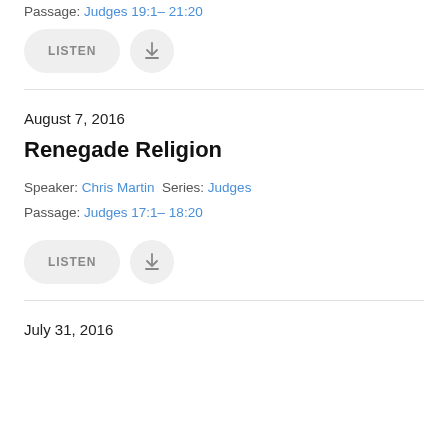Passage: Judges 19:1– 21:20
LISTEN | [download button]
August 7, 2016
Renegade Religion
Speaker: Chris Martin  Series: Judges
Passage: Judges 17:1– 18:20
LISTEN | [download button]
July 31, 2016